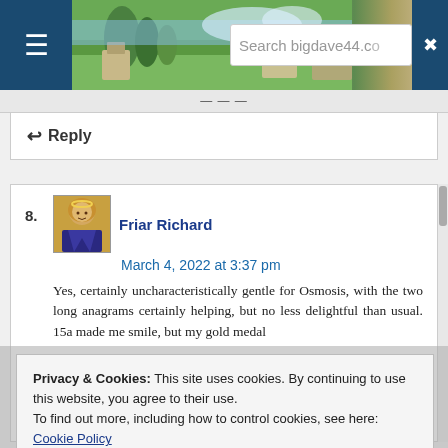[Figure (screenshot): Website header with hamburger menu icon, countryside photo banner, and search bar showing 'Search bigdave44.c']
↩ Reply
8. Friar Richard
March 4, 2022 at 3:37 pm
Yes, certainly uncharacteristically gentle for Osmosis, with the two long anagrams certainly helping, but no less delightful than usual. 15a made me smile, but my gold medal
Privacy & Cookies: This site uses cookies. By continuing to use this website, you agree to their use.
To find out more, including how to control cookies, see here: Cookie Policy
Close and accept
Of course – 24d was almost bound to appear to you, hope it comes in useful!